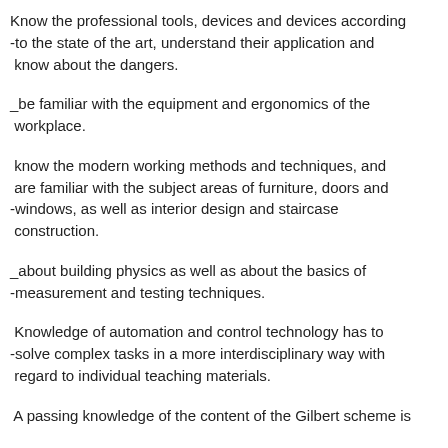Know the professional tools, devices and devices according to the state of the art, understand their application and know about the dangers.
be familiar with the equipment and ergonomics of the workplace.
know the modern working methods and techniques, and are familiar with the subject areas of furniture, doors and windows, as well as interior design and staircase construction.
about building physics as well as about the basics of measurement and testing techniques.
Knowledge of automation and control technology has to solve complex tasks in a more interdisciplinary way with regard to individual teaching materials.
A passing knowledge of the content of the Gilbert scheme is